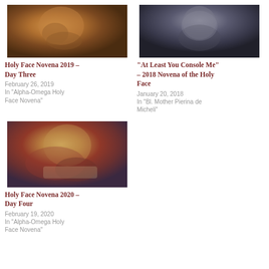[Figure (photo): Close-up painting of a face with warm golden-brown tones, appears to be a religious painting]
Holy Face Novena 2019 – Day Three
February 26, 2019
In "Alpha-Omega Holy Face Novena"
[Figure (photo): Dark toned depiction of a bearded figure, appears to be a statue or painting of Christ]
“At Least You Console Me” – 2018 Novena of the Holy Face
January 20, 2018
In "Bl. Mother Pierina de Micheli"
[Figure (photo): Religious painting showing a robed figure with warm red and yellow tones, writing or reading a document]
Holy Face Novena 2020 – Day Four
February 19, 2020
In "Alpha-Omega Holy Face Novena"